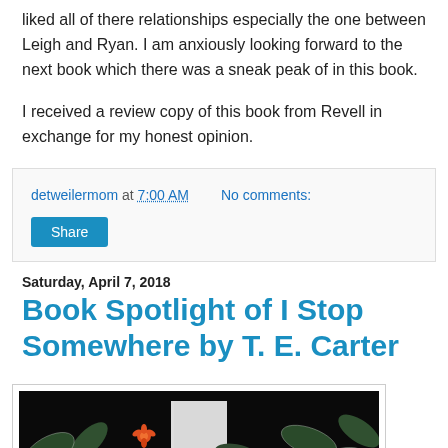liked all of there relationships especially the one between Leigh and Ryan. I am anxiously looking forward to the next book which there was a sneak peak of in this book.
I received a review copy of this book from Revell in exchange for my honest opinion.
detweilermom at 7:00 AM   No comments:
Share
Saturday, April 7, 2018
Book Spotlight of I Stop Somewhere by T. E. Carter
[Figure (photo): Book cover or promotional image for 'I Stop Somewhere by T. E. Carter', showing frost-covered dark green leaves on a black background with a small orange flower and a partial white book cover visible in the center.]